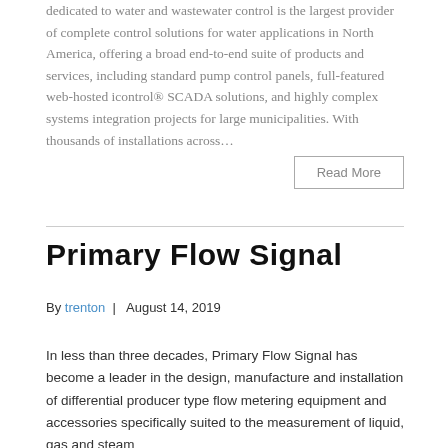dedicated to water and wastewater control is the largest provider of complete control solutions for water applications in North America, offering a broad end-to-end suite of products and services, including standard pump control panels, full-featured web-hosted icontrol® SCADA solutions, and highly complex systems integration projects for large municipalities. With thousands of installations across…
Read More
Primary Flow Signal
By trenton | August 14, 2019
In less than three decades, Primary Flow Signal has become a leader in the design, manufacture and installation of differential producer type flow metering equipment and accessories specifically suited to the measurement of liquid, gas and steam